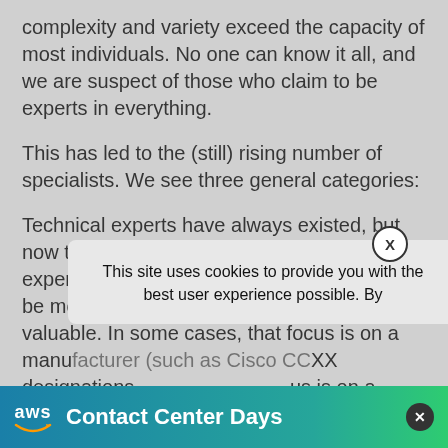complexity and variety exceed the capacity of most individuals. No one can know it all, and we are suspect of those who claim to be experts in everything.
This has led to the (still) rising number of specialists. We see three general categories:
Technical experts have always existed, but now the required depth of knowledge and experience has forced those very experts to be more narrowly focused in order to remain valuable. In some cases, that focus is on a manufacturer (such as Cisco CCXX designations [obscured] us is on a product class [obscured] n a specific technology (W [obscured] e capabili[obscured] knowledge m[obscured] lar to spend
[Figure (other): Cookie consent popup overlay with text: 'This site uses cookies to provide you with the best user experience possible. By' and a close button (X)]
[Figure (infographic): AWS Contact Center Days promotional banner in teal/blue gradient with AWS logo and close button]